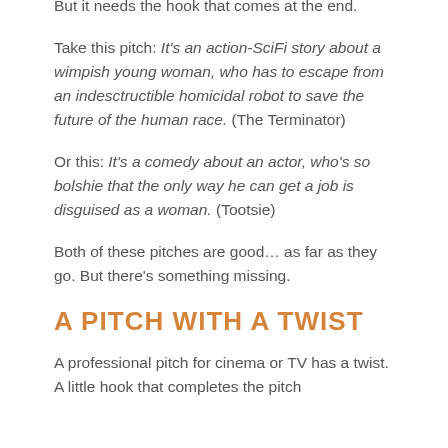But it needs the hook that comes at the end.
Take this pitch: It's an action-SciFi story about a wimpish young woman, who has to escape from an indesctructible homicidal robot to save the future of the human race. (The Terminator)
Or this: It's a comedy about an actor, who's so bolshie that the only way he can get a job is disguised as a woman. (Tootsie)
Both of these pitches are good… as far as they go. But there's something missing.
A PITCH WITH A TWIST
A professional pitch for cinema or TV has a twist. A little hook that completes the pitch